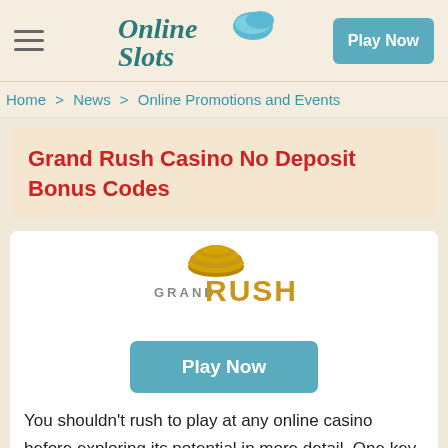Online Slots — Play Now
Home > News > Online Promotions and Events
Grand Rush Casino No Deposit Bonus Codes
[Figure (logo): Grand Rush Casino logo with gold text and stacked coins image]
Play Now
You shouldn't rush to play at any online casino before exploring its potential in more detail. One key area to